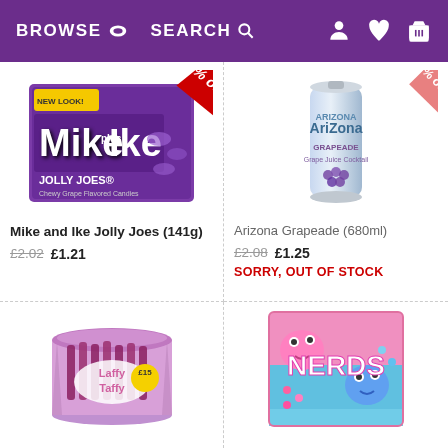BROWSE | SEARCH
[Figure (photo): Mike and Ike Jolly Joes candy box (141g) with 40% off diagonal banner]
Mike and Ike Jolly Joes (141g)
£2.02 £1.21
[Figure (photo): Arizona Grapeade drink can (680ml) with 40% off diagonal banner]
Arizona Grapeade (680ml)
£2.08 £1.25
SORRY, OUT OF STOCK
[Figure (photo): Laffy Taffy candy tub, partially visible]
[Figure (photo): Nerds candy box, partially visible]